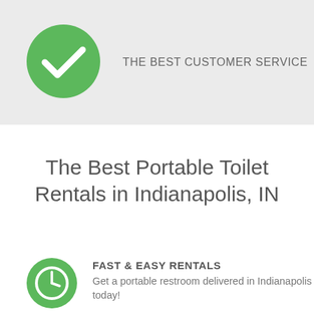[Figure (infographic): Green circle with white checkmark icon]
THE BEST CUSTOMER SERVICE
The Best Portable Toilet Rentals in Indianapolis, IN
[Figure (infographic): Green circle with clock/time icon]
FAST & EASY RENTALS
Get a portable restroom delivered in Indianapolis today!